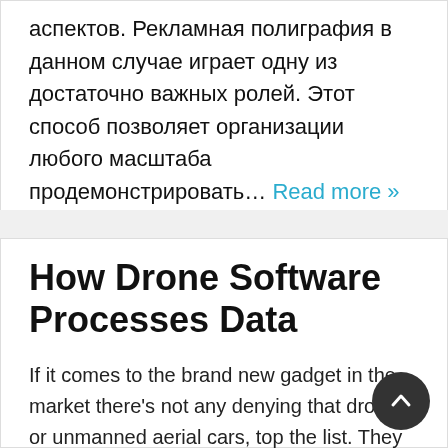аспектов. Рекламная полиграфия в данном случае играет одну из достаточно важных ролей. Этот способ позволяет организации любого масштаба продемонстрировать… Read more »
Uncategorized   Изготовление подарочных упаковок в Киеве
[Figure (photo): Broken/placeholder image labeled 'Processes']
How Drone Software Processes Data
If it comes to the brand new gadget in the market there's not any denying that drones, or unmanned aerial cars, top the list. They attracted the attention of individuals… Read more »